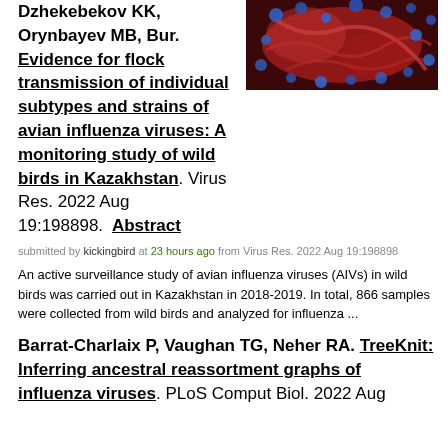Dzhekebekov KK, Orynbayev MB, Bur. Evidence for flock transmission of individual subtypes and strains of avian influenza viruses: A monitoring study of wild birds in Kazakhstan. Virus Res. 2022 Aug 19:198898. Abstract
[Figure (photo): Microscopic image of avian influenza virus particles, showing red/pink and blue colored virus structures against a dark background]
submitted by kickingbird at 23 hours ago from Virus Res. 2022 Aug 19:198898
An active surveillance study of avian influenza viruses (AIVs) in wild birds was carried out in Kazakhstan in 2018-2019. In total, 866 samples were collected from wild birds and analyzed for influenza ...
Barrat-Charlaix P, Vaughan TG, Neher RA. TreeKnit: Inferring ancestral reassortment graphs of influenza viruses. PLoS Comput Biol. 2022 Aug